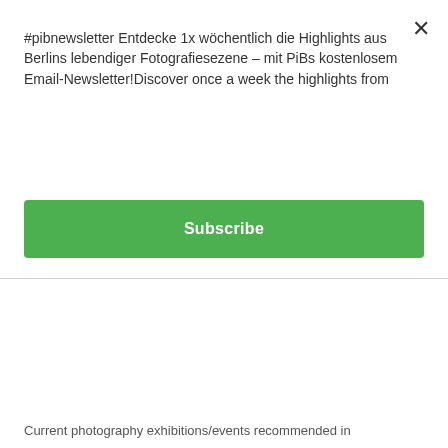#pibnewsletter Entdecke 1x wöchentlich die Highlights aus Berlins lebendiger Fotografiesezene – mit PiBs kostenlosem Email-Newsletter!Discover once a week the highlights from
[Figure (other): Green Subscribe button]
Current photography exhibitions/events recommended in